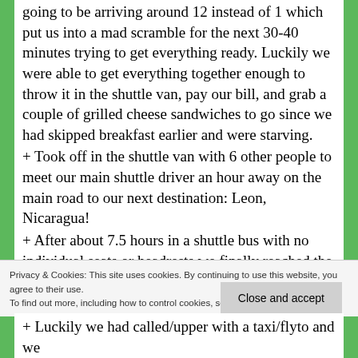going to be arriving around 12 instead of 1 which put us into a mad scramble for the next 30-40 minutes trying to get everything ready. Luckily we were able to get everything together enough to throw it in the shuttle van, pay our bill, and grab a couple of grilled cheese sandwiches to go since we had skipped breakfast earlier and were starving.
+ Took off in the shuttle van with 6 other people to meet our main shuttle driver an hour away on the main road to our next destination: Leon, Nicaragua!
+ After about 7.5 hours in a shuttle bus with no individual seats or headrests we finally reached the Honduran/Nicaraguan border! (Would've been a lot faster if we didn't stop every hour or so).
Privacy & Cookies: This site uses cookies. By continuing to use this website, you agree to their use. To find out more, including how to control cookies, see here: Cookie Policy
Close and accept
+ Luckily we had called/upper with a taxi/flyto and we